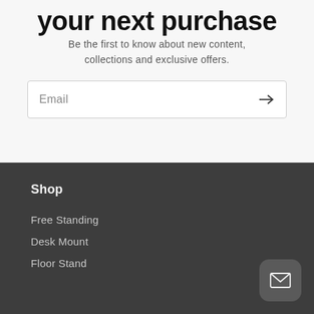your next purchase
Be the first to know about new content, collections and exclusive offers.
Email
Shop
Free Standing
Desk Mount
Floor Stand